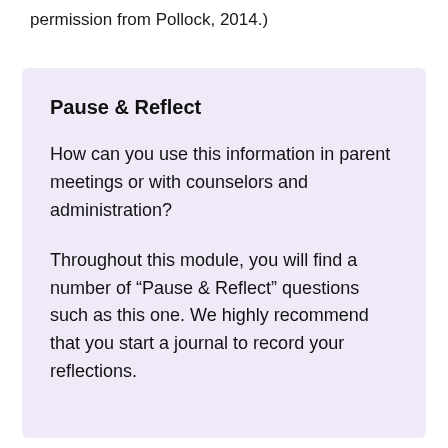permission from Pollock, 2014.)
Pause & Reflect
How can you use this information in parent meetings or with counselors and administration?
Throughout this module, you will find a number of “Pause & Reflect” questions such as this one. We highly recommend that you start a journal to record your reflections.